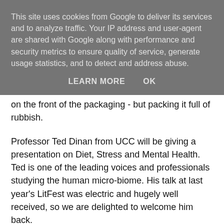This site uses cookies from Google to deliver its services and to analyze traffic. Your IP address and user-agent are shared with Google along with performance and security metrics to ensure quality of service, generate usage statistics, and to detect and address abuse.
LEARN MORE   OK
on the front of the packaging - but packing it full of rubbish.
Professor Ted Dinan from UCC will be giving a presentation on Diet, Stress and Mental Health. Ted is one of the leading voices and professionals studying the human micro-biome. His talk at last year's LitFest was electric and hugely well received, so we are delighted to welcome him back.
And they're just some of Saturday's speakers - we also have celebrated cookery writer, Claudia Roden and David Brin, international editor of Cook's Not...